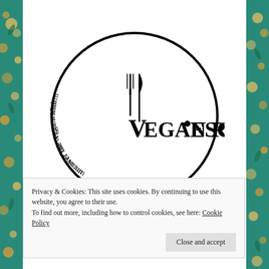[Figure (logo): Vegan Rescue logo: a circle with bold border containing a fork and knife icon, the text 'VEGAN RESCUE' in large serif font with a small circle/spot on the R, and curved text around the left side reading 'uncover the vegan within'. Below the circle: 'Est. 2015'.]
Privacy & Cookies: This site uses cookies. By continuing to use this website, you agree to their use.
To find out more, including how to control cookies, see here: Cookie Policy